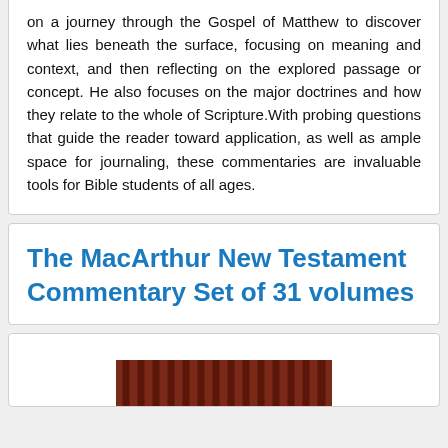on a journey through the Gospel of Matthew to discover what lies beneath the surface, focusing on meaning and context, and then reflecting on the explored passage or concept. He also focuses on the major doctrines and how they relate to the whole of Scripture.With probing questions that guide the reader toward application, as well as ample space for journaling, these commentaries are invaluable tools for Bible students of all ages.
The MacArthur New Testament Commentary Set of 31 volumes
[Figure (photo): Partial view of a set of dark red/brown hardcover books from The MacArthur New Testament Commentary series]